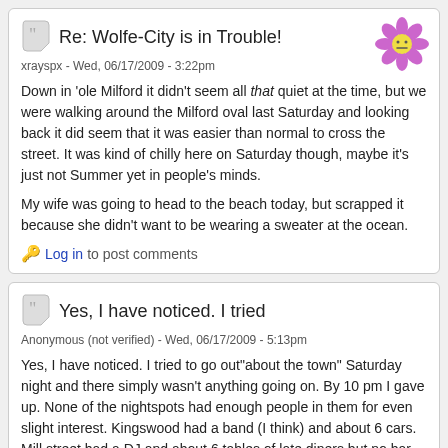Re: Wolfe-City is in Trouble!
xrayspx - Wed, 06/17/2009 - 3:22pm
Down in 'ole Milford it didn't seem all that quiet at the time, but we were walking around the Milford oval last Saturday and looking back it did seem that it was easier than normal to cross the street. It was kind of chilly here on Saturday though, maybe it's just not Summer yet in people's minds.

My wife was going to head to the beach today, but scrapped it because she didn't want to be wearing a sweater at the ocean.
Log in to post comments
Yes, I have noticed. I tried
Anonymous (not verified) - Wed, 06/17/2009 - 5:13pm
Yes, I have noticed. I tried to go out"about the town" Saturday night and there simply wasn't anything going on. By 10 pm I gave up. None of the nightspots had enough people in them for even slight interest. Kingswood had a band (I think) and about 6 cars. Mill street had a DJ and about 6 tables of late diners but no bar crowd to speak of. Garwoods had the waitstaff standing out on the sidewalk looking up and down the street. The Restaurant was doing good business for the late hour.